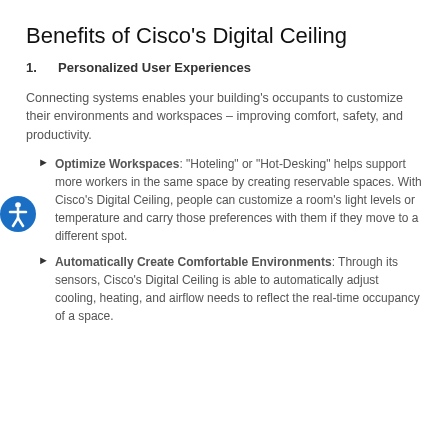Benefits of Cisco's Digital Ceiling
1.   Personalized User Experiences
Connecting systems enables your building's occupants to customize their environments and workspaces – improving comfort, safety, and productivity.
Optimize Workspaces: "Hoteling" or "Hot-Desking" helps support more workers in the same space by creating reservable spaces. With Cisco's Digital Ceiling, people can customize a room's light levels or temperature and carry those preferences with them if they move to a different spot.
Automatically Create Comfortable Environments: Through its sensors, Cisco's Digital Ceiling is able to automatically adjust cooling, heating, and airflow needs to reflect the real-time occupancy of a space.